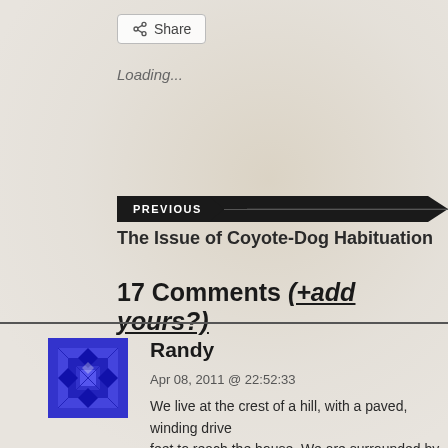Share
Loading...
PREVIOUS
The Issue of Coyote-Dog Habituation
17 Comments (+add yours?)
Randy
Apr 08, 2011 @ 22:52:33
We live at the crest of a hill, with a paved, winding drive... feet to reach the house. We are surrounded by orchards a... frequent the area at night. This week I found coyote scat n... driveway at two different elevations. I don't know if the c...